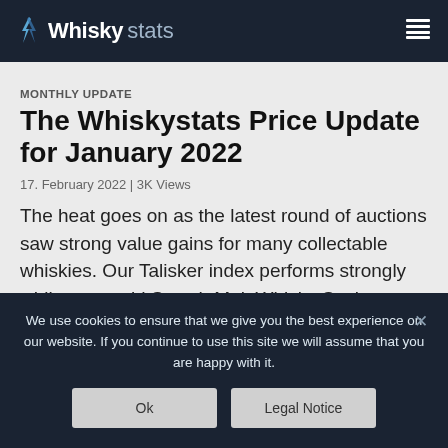Whiskystats
MONTHLY UPDATE
The Whiskystats Price Update for January 2022
17. February 2022 | 3K Views
The heat goes on as the latest round of auctions saw strong value gains for many collectable whiskies. Our Talisker index performs strongly while some old Scotch Malt Whisky Society
We use cookies to ensure that we give you the best experience on our website. If you continue to use this site we will assume that you are happy with it.